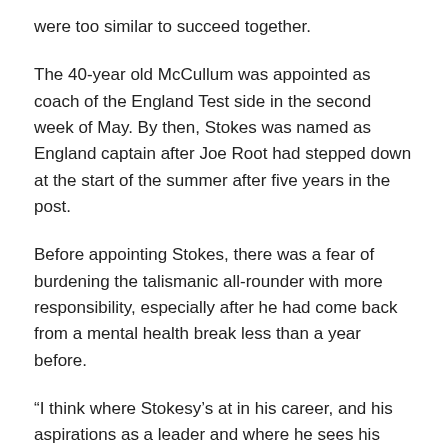were too similar to succeed together.
The 40-year old McCullum was appointed as coach of the England Test side in the second week of May. By then, Stokes was named as England captain after Joe Root had stepped down at the start of the summer after five years in the post.
Before appointing Stokes, there was a fear of burdening the talismanic all-rounder with more responsibility, especially after he had come back from a mental health break less than a year before.
“I think where Stokesy’s at in his career, and his aspirations as a leader and where he sees his team needs to go, it aligns beautifully to his personality and also to mine,” McCullum told SENZ Radio.